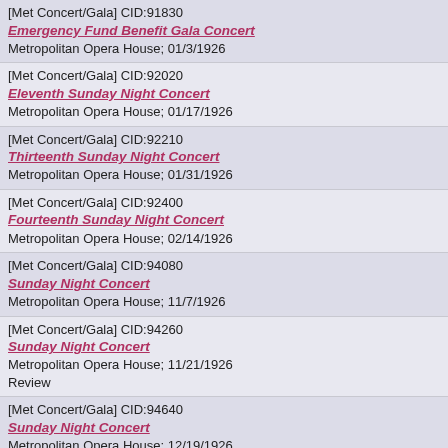[Met Concert/Gala] CID:91830
Emergency Fund Benefit Gala Concert
Metropolitan Opera House; 01/3/1926
[Met Concert/Gala] CID:92020
Eleventh Sunday Night Concert
Metropolitan Opera House; 01/17/1926
[Met Concert/Gala] CID:92210
Thirteenth Sunday Night Concert
Metropolitan Opera House; 01/31/1926
[Met Concert/Gala] CID:92400
Fourteenth Sunday Night Concert
Metropolitan Opera House; 02/14/1926
[Met Concert/Gala] CID:94080
Sunday Night Concert
Metropolitan Opera House; 11/7/1926
[Met Concert/Gala] CID:94260
Sunday Night Concert
Metropolitan Opera House; 11/21/1926
Review
[Met Concert/Gala] CID:94640
Sunday Night Concert
Metropolitan Opera House; 12/19/1926
[Met Concert/Gala] CID:94840
New Year Holiday Concert
Metropolitan Opera House; 01/2/1927
[Met Concert/Gala] CID:95120
Gala Concert: Verdi-Puccini-Meyerbeer Program
Metropolitan Opera House; 01/23/1927